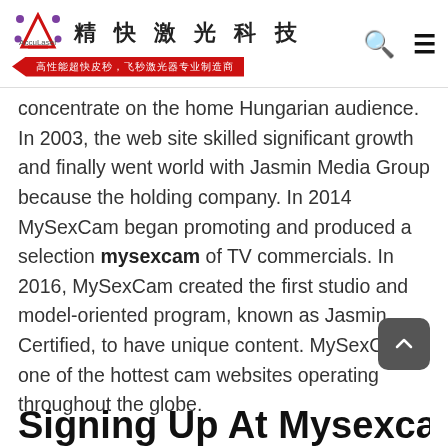精快激光科技 | 高性能超快皮秒，飞秒激光器专业制造商
concentrate on the home Hungarian audience. In 2003, the web site skilled significant growth and finally went world with Jasmin Media Group because the holding company. In 2014 MySexCam began promoting and produced a selection mysexcam of TV commercials. In 2016, MySexCam created the first studio and model-oriented program, known as Jasmin Certified, to have unique content. MySexCam is one of the hottest cam websites operating throughout the globe.
Signing Up At Mysexcam